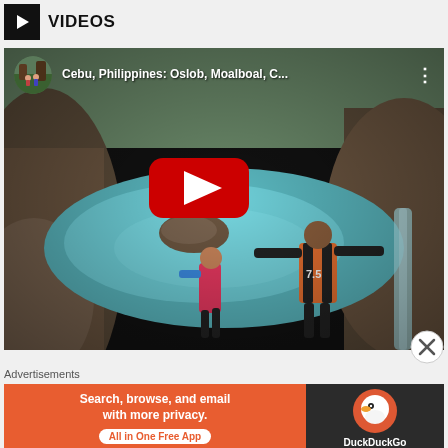VIDEOS
[Figure (screenshot): YouTube video thumbnail showing: 'Cebu, Philippines: Oslob, Moalboal, C...' with a scene of a person in a life vest standing on rocks helping another person jump into a turquoise pool/river canyon. A YouTube play button is overlaid in the center. The top bar shows a circular avatar image and menu dots.]
[Figure (screenshot): DuckDuckGo advertisement banner: 'Search, browse, and email with more privacy. All in One Free App' on orange background, with DuckDuckGo logo on dark background on the right side.]
Advertisements